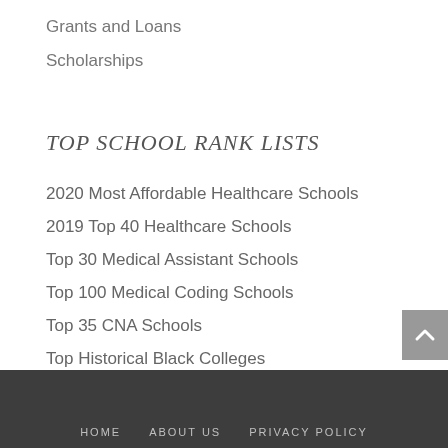Grants and Loans
Scholarships
TOP SCHOOL RANK LISTS
2020 Most Affordable Healthcare Schools
2019 Top 40 Healthcare Schools
Top 30 Medical Assistant Schools
Top 100 Medical Coding Schools
Top 35 CNA Schools
Top Historical Black Colleges
HOME   ABOUT US   PRIVACY POLICY